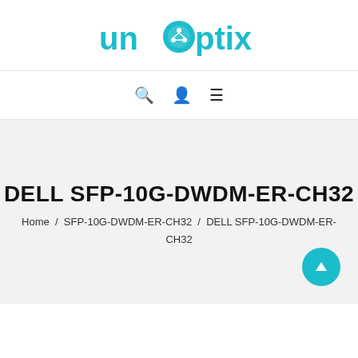[Figure (logo): Unoptix logo with teal/cyan text and circuit-board icon integrated into the letter 'o']
🔍 👤 ☰
DELL SFP-10G-DWDM-ER-CH32
Home / SFP-10G-DWDM-ER-CH32 / DELL SFP-10G-DWDM-ER-CH32